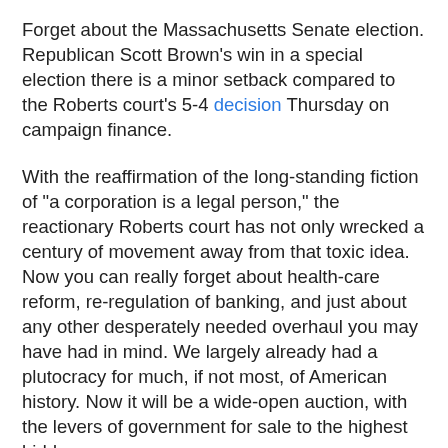Forget about the Massachusetts Senate election. Republican Scott Brown's win in a special election there is a minor setback compared to the Roberts court's 5-4 decision Thursday on campaign finance.
With the reaffirmation of the long-standing fiction of "a corporation is a legal person," the reactionary Roberts court has not only wrecked a century of movement away from that toxic idea. Now you can really forget about health-care reform, re-regulation of banking, and just about any other desperately needed overhaul you may have had in mind. We largely already had a plutocracy for much, if not most, of American history. Now it will be a wide-open auction, with the levers of government for sale to the highest bidders.
With virtually all restraints on the coffers of our corporate masters lifted by the judicial branch, it's all but certain that Republicans will make huge gains in the midterm elections in November, and also likely that Barack Obama will be a one-term president. In this decade we're probably going to see Supply Side 3, with Corporate America and wealthy individuals raking in still more immense gains at the expense